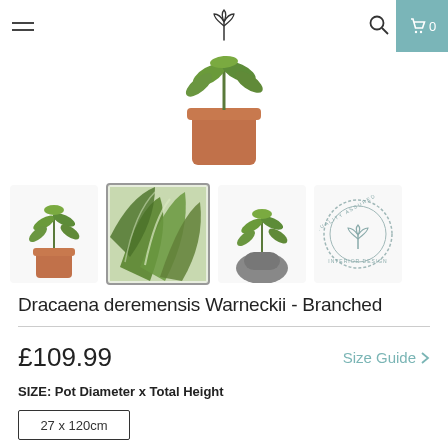Navigation header with menu, logo, search and cart icons
[Figure (photo): Main product image showing a Dracaena deremensis Warneckii plant in a terracotta pot, partially shown (top cropped)]
[Figure (photo): Four thumbnail images: plant in terracotta pot, close-up of leaves, plant in grey pot, and quality assured interior design circular badge]
Dracaena deremensis Warneckii - Branched
£109.99
Size Guide
SIZE: Pot Diameter x Total Height
27 x 120cm